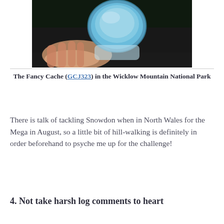[Figure (photo): A hand holding a small round blue-lidded geocache container against a dark background, photographed in low light.]
The Fancy Cache (GCJ323) in the Wicklow Mountain National Park
There is talk of tackling Snowdon when in North Wales for the Mega in August, so a little bit of hill-walking is definitely in order beforehand to psyche me up for the challenge!
4. Not take harsh log comments to heart